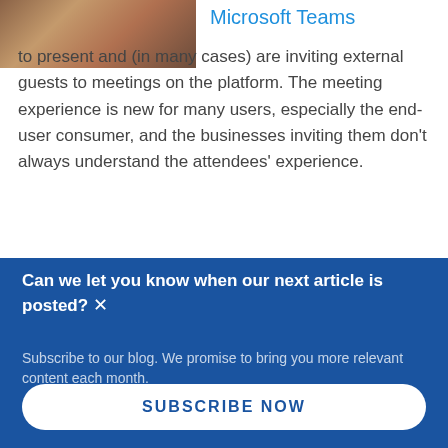[Figure (photo): Photo of a person with reddish-brown hair sitting at a keyboard, cropped at top of page]
Microsoft Teams
to present and (in many cases) are inviting external guests to meetings on the platform. The meeting experience is new for many users, especially the end-user consumer, and the businesses inviting them don't always understand the attendees' experience.
Can we let you know when our next article is posted?
Subscribe to our blog. We promise to bring you more relevant content each month.
SUBSCRIBE NOW